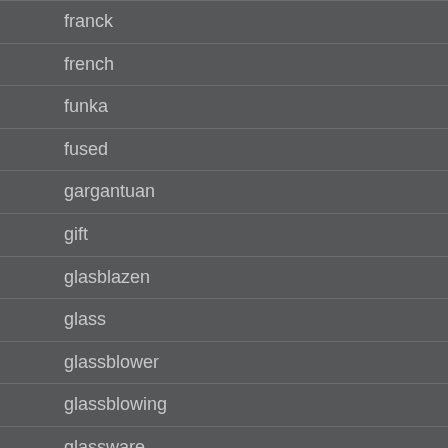franck
french
funka
fused
gargantuan
gift
glasblazen
glass
glassblower
glassblowing
glassware
godzilla